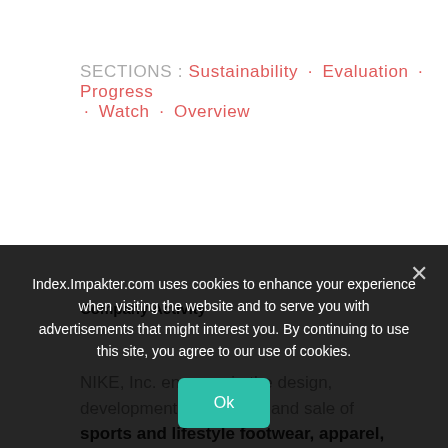SECTIONS : Sustainability · Evaluation · Progress · Watch · Overview
Company Activity
NIKE, Inc. engages in the design, development, marketing, and sale of sports and lifestyle footwear, apparel, and equipment, accessories
Index.Impakter.com uses cookies to enhance your experience when visiting the website and to serve you with advertisements that might interest you. By continuing to use this site, you agree to our use of cookies.